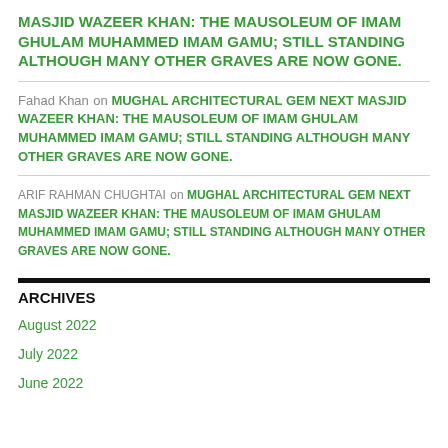MASJID WAZEER KHAN: THE MAUSOLEUM OF IMAM GHULAM MUHAMMED IMAM GAMU; STILL STANDING ALTHOUGH MANY OTHER GRAVES ARE NOW GONE.
Fahad Khan on MUGHAL ARCHITECTURAL GEM NEXT MASJID WAZEER KHAN: THE MAUSOLEUM OF IMAM GHULAM MUHAMMED IMAM GAMU; STILL STANDING ALTHOUGH MANY OTHER GRAVES ARE NOW GONE.
ARIF RAHMAN CHUGHTAI on MUGHAL ARCHITECTURAL GEM NEXT MASJID WAZEER KHAN: THE MAUSOLEUM OF IMAM GHULAM MUHAMMED IMAM GAMU; STILL STANDING ALTHOUGH MANY OTHER GRAVES ARE NOW GONE.
ARCHIVES
August 2022
July 2022
June 2022